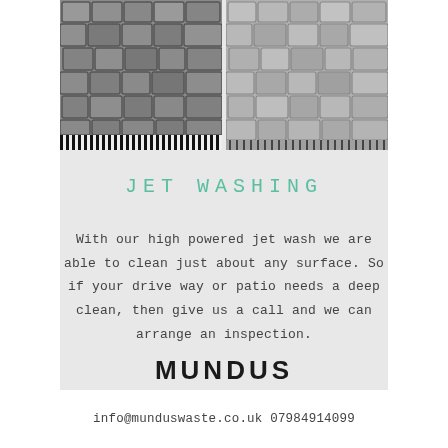[Figure (photo): Two side-by-side photos of cobblestone/paved surfaces - left showing cobblestones with a black and white striped bar at the bottom, right showing similar paving stones with a dotted bar at the bottom]
JET WASHING
With our high powered jet wash we are able to clean just about any surface. So if your drive way or patio needs a deep clean, then give us a call and we can arrange an inspection.
MUNDUS
info@munduswaste.co.uk 07984914099